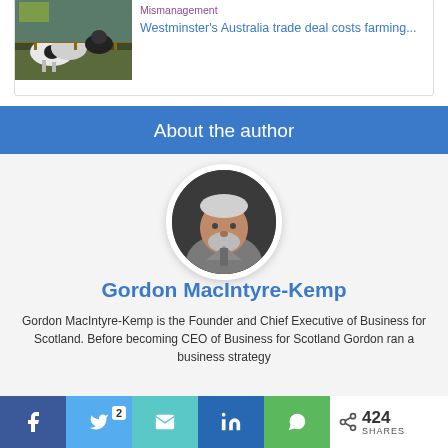[Figure (photo): Small image of cows at a farm/trough, used as article thumbnail]
Mismanagement
Westminster's Australia trade deal costs farming...
About the author
[Figure (photo): Circular portrait photo of Gordon MacIntyre-Kemp, a middle-aged man with grey beard wearing a grey shirt, on a dark background]
Gordon MacIntyre-Kemp
Gordon MacIntyre-Kemp is the Founder and Chief Executive of Business for Scotland. Before becoming CEO of Business for Scotland Gordon ran a business strategy
424 SHARES